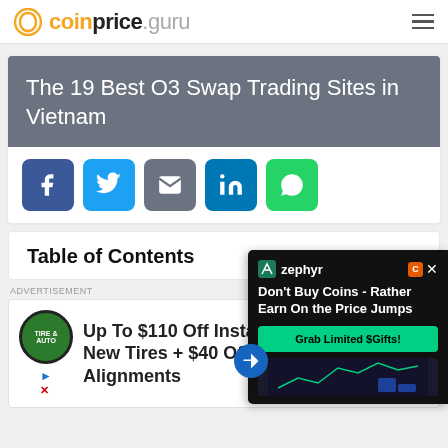coinprice.guru
The 19 Best O3 Swap Trading Sites in Vietnam
[Figure (infographic): Social sharing buttons: Facebook, Twitter, Email, LinkedIn, WhatsApp]
Table of Contents
ADVERTISEMENT
[Figure (infographic): Advertisement: Up To $110 Off Instant New Tires + $40 Off Alignments with Tire & Auto logo]
[Figure (infographic): Floating ad overlay: Zephyr - Don't Buy Coins - Rather Earn On the Price Jumps. Grab Limited $Gifts!]